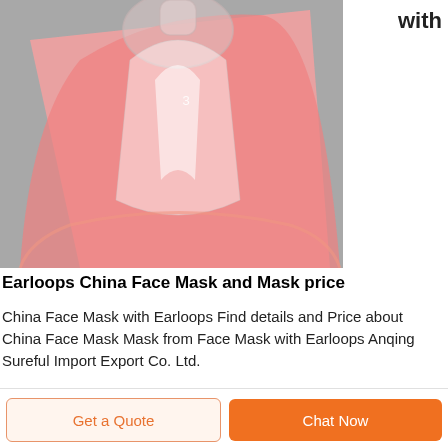[Figure (photo): Close-up photo of a pink silicone face mask with a clear dome/cone-shaped breathing piece, labeled '3', on a gray background.]
with
Earloops China Face Mask and Mask price
China Face Mask with Earloops Find details and Price about China Face Mask Mask from Face Mask with Earloops Anqing Sureful Import Export Co. Ltd.